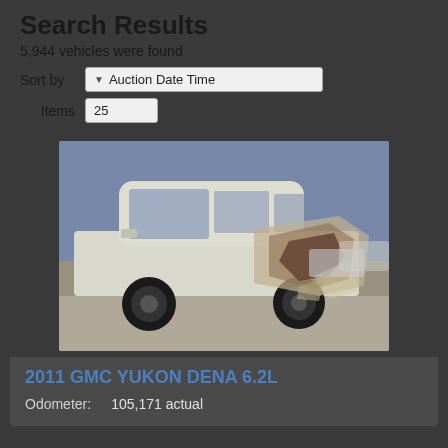Search Results
5,944 vehicles were found
Sort by   Auction Date Time
Items   25
[Figure (photo): Damaged white GMC Yukon SUV with front-end collision damage, photographed in a salvage yard or auction lot.]
2011 GMC YUKON DENA 6.2L
Odometer:   105,171 actual